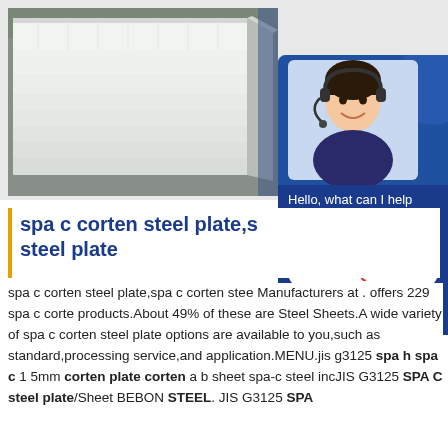[Figure (photo): Stack of white/light grey steel plates or panels stacked horizontally, photographed in what appears to be a warehouse or factory setting.]
[Figure (infographic): Customer service chat widget with blue background showing a woman wearing a headset, text 'Hello, what can I help you?', '7x24 Online', 'Get Quote' button, and 'bsteel1@163.com']
spa c corten steel plate,s steel plate
spa c corten steel plate,spa c corten stee Manufacturers at . offers 229 spa c corte products.About 49% of these are Steel Sheets.A wide variety of spa c corten steel plate options are available to you,such as standard,processing service,and application.MENU.jis g3125 spa h spa c 1 5mm corten plate corten a b sheet spa-c steel incJIS G3125 SPA C steel plate/Sheet BEBON STEEL. JIS G3125 SPA